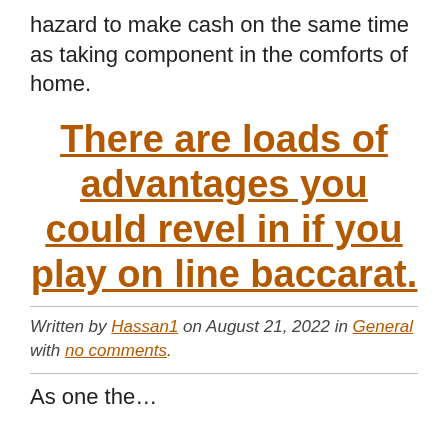hazard to make cash on the same time as taking component in the comforts of home.
There are loads of advantages you could revel in if you play on line baccarat.
Written by Hassan1 on August 21, 2022 in General with no comments.
As one the…